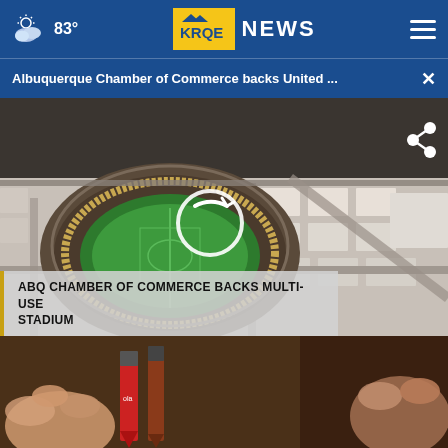83° KRQE NEWS
Albuquerque Chamber of Commerce backs United ... ×
[Figure (screenshot): Aerial rendering of a proposed multi-use soccer stadium in Albuquerque with surrounding streets and buildings visible, with a play button overlay and a share icon]
ABQ CHAMBER OF COMMERCE BACKS MULTI-USE STADIUM
[Figure (photo): Close-up photo of hands holding crayons and what appears to be art supplies]